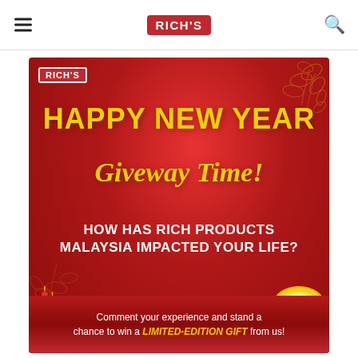RICH'S (logo)
[Figure (illustration): Rich's brand promotional image for Happy New Year Giveaway Time. Red background with gold floral decorations, large gold bold text 'HAPPY NEW YEAR' and gold italic script 'Giveway Time!', white bold text 'HOW HAS RICH PRODUCTS MALAYSIA IMPACTED YOUR LIFE?', bottom banner with white text 'Comment your experience and stand a chance to win a LIMITED-EDITION GIFT from us!' with LIMITED-EDITION GIFT in gold italic. Rich's logo in top-left corner of image. Gold ingot and red candles decorations.]